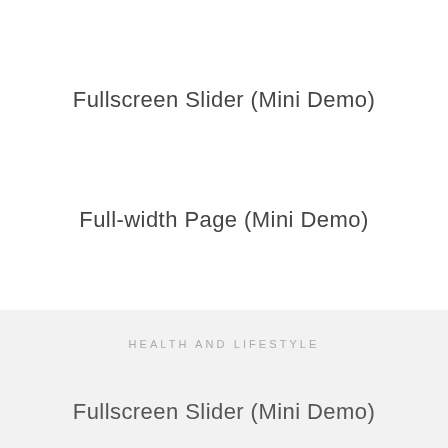Fullscreen Slider (Mini Demo)
Full-width Page (Mini Demo)
HEALTH AND LIFESTYLE
Fullscreen Slider (Mini Demo)